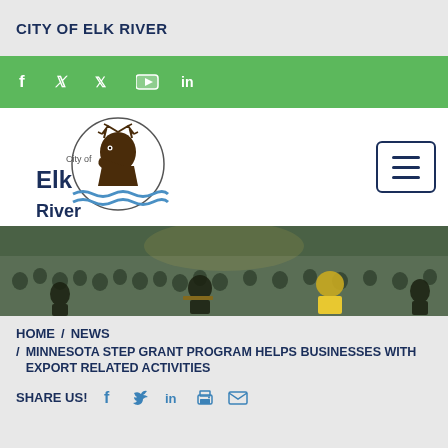CITY OF ELK RIVER
[Figure (screenshot): Green social media bar with Facebook, Twitter, YouTube, and LinkedIn icons in white]
[Figure (logo): City of Elk River logo with elk head silhouette inside circle and blue wave lines, with hamburger menu button]
[Figure (photo): Outdoor concert/event photo showing crowd watching performers on stage]
HOME / NEWS / MINNESOTA STEP GRANT PROGRAM HELPS BUSINESSES WITH EXPORT RELATED ACTIVITIES
SHARE US!